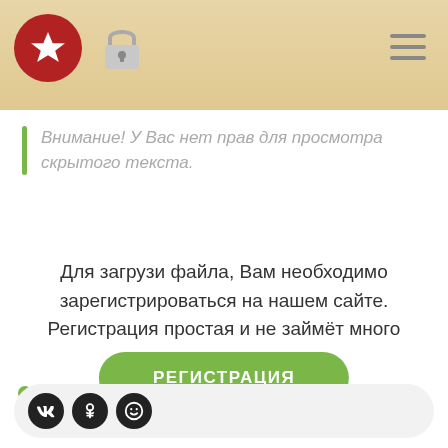Внимание! У Вас нет прав для просмотра скрытого текста.
Для загрузи файла, Вам необходимо зарегистрироваться на нашем сайте. Регистрация простая и не займёт много времени.
РЕГИСТРАЦИЯ
Hard Rock
[Figure (other): Social share buttons: VK, OK, and emoji/smile icon]